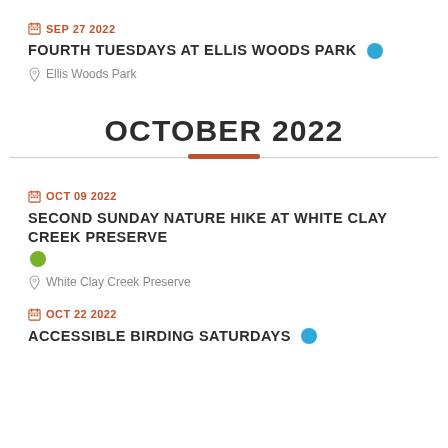SEP 27 2022
FOURTH TUESDAYS AT ELLIS WOODS PARK
Ellis Woods Park
OCTOBER 2022
OCT 09 2022
SECOND SUNDAY NATURE HIKE AT WHITE CLAY CREEK PRESERVE
White Clay Creek Preserve
OCT 22 2022
ACCESSIBLE BIRDING SATURDAYS